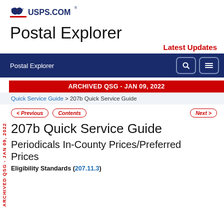[Figure (logo): USPS.COM eagle logo and wordmark with registered trademark symbol]
Postal Explorer
Latest Updates
[Figure (screenshot): Navy blue navigation bar with 'Postal Explorer' text and search/menu icons]
ARCHIVED QSG - JAN 09, 2022
Quick Service Guide > 207b Quick Service Guide
< Previous   Contents   Next >
207b Quick Service Guide
Periodicals In-County Prices/Preferred Prices
Eligibility Standards (207.11.3)